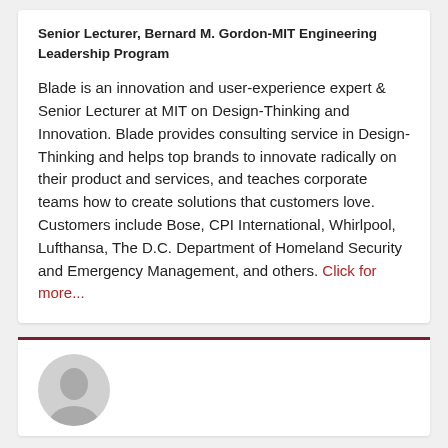Senior Lecturer, Bernard M. Gordon-MIT Engineering Leadership Program
Blade is an innovation and user-experience expert & Senior Lecturer at MIT on Design-Thinking and Innovation. Blade provides consulting service in Design-Thinking and helps top brands to innovate radically on their product and services, and teaches corporate teams how to create solutions that customers love. Customers include Bose, CPI International, Whirlpool, Lufthansa, The D.C. Department of Homeland Security and Emergency Management, and others. Click for more...
[Figure (photo): Circular avatar/headshot photo of a person, partially visible at the bottom of the page]